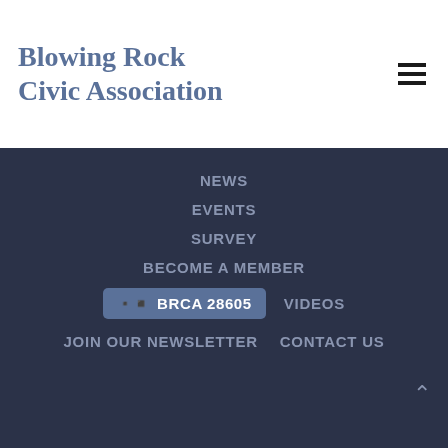Blowing Rock Civic Association
NEWS
EVENTS
SURVEY
BECOME A MEMBER
BRCA 28605
VIDEOS
JOIN OUR NEWSLETTER
CONTACT US